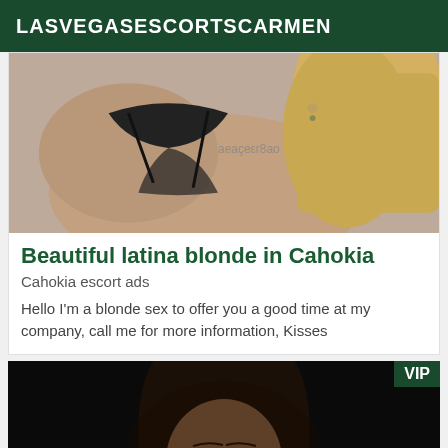LASVEGASESCORTSCARMEN
[Figure (photo): Photo of a blonde woman in black lingerie, partially visible from behind, with a tattoo visible on her back]
Beautiful latina blonde in Cahokia
Cahokia escort ads
Hello I'm a blonde sex to offer you a good time at my company, call me for more information, Kisses
[Figure (photo): Photo of a dark-haired woman with eyes closed, in a dark setting, with a VIP badge overlay]